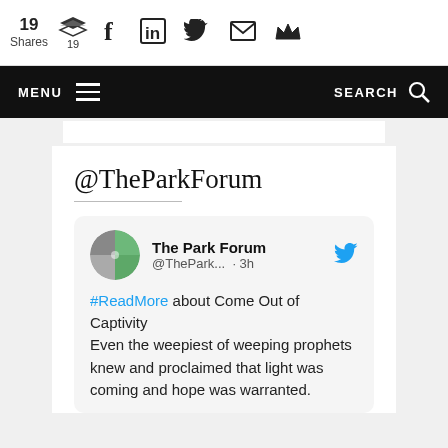19 Shares | social share icons: stack (19), Facebook, LinkedIn, Twitter, Email, Crown
MENU  SEARCH
@TheParkForum
[Figure (screenshot): Embedded tweet from The Park Forum (@ThePark... · 3h): '#ReadMore about Come Out of Captivity Even the weepiest of weeping prophets knew and proclaimed that light was coming and hope was warranted.']